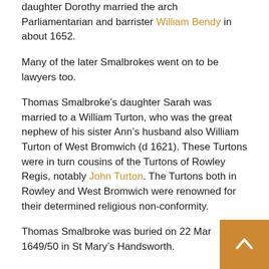daughter Dorothy married the arch Parliamentarian and barrister William Bendy in about 1652.
Many of the later Smalbrokes went on to be lawyers too.
Thomas Smalbroke’s daughter Sarah was married to a William Turton, who was the great nephew of his sister Ann’s husband also William Turton of West Bromwich (d 1621). These Turtons were in turn cousins of the Turtons of Rowley Regis, notably John Turton. The Turtons both in Rowley and West Bromwich were renowned for their determined religious non-conformity.
Thomas Smalbroke was buried on 22 Mar 1649/50 in St Mary’s Handsworth.
Sources and Notes